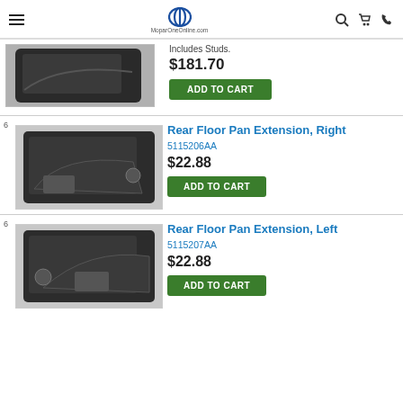MoparOneOnline.com
[Figure (photo): Partial product image (top of page, clipped) — dark auto part]
Includes Studs.
$181.70
ADD TO CART
Rear Floor Pan Extension, Right
5115206AA
[Figure (photo): Rear Floor Pan Extension Right — dark metal automotive floor pan part]
$22.88
ADD TO CART
Rear Floor Pan Extension, Left
5115207AA
[Figure (photo): Rear Floor Pan Extension Left — dark metal automotive floor pan part]
$22.88
ADD TO CART